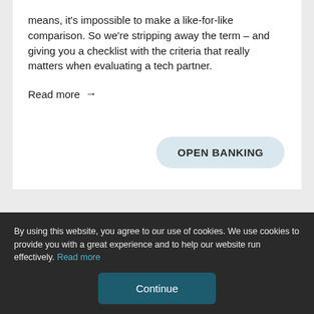means, it's impossible to make a like-for-like comparison. So we're stripping away the term – and giving you a checklist with the criteria that really matters when evaluating a tech partner.
Read more →
OPEN BANKING
By using this website, you agree to our use of cookies. We use cookies to provide you with a great experience and to help our website run effectively. Read more
Continue